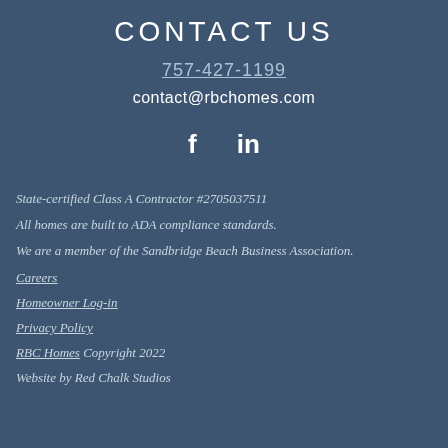CONTACT US
757-427-1199
contact@rbchomes.com
[Figure (other): Social media icons: Facebook (f) and LinkedIn (in)]
State-certified Class A Contractor #2705037511
All homes are built to ADA compliance standards.
We are a member of the Sandbridge Beach Business Association.
Careers
Homeowner Log-in
Privacy Policy
RBC Homes Copyright 2022
Website by Red Chalk Studios